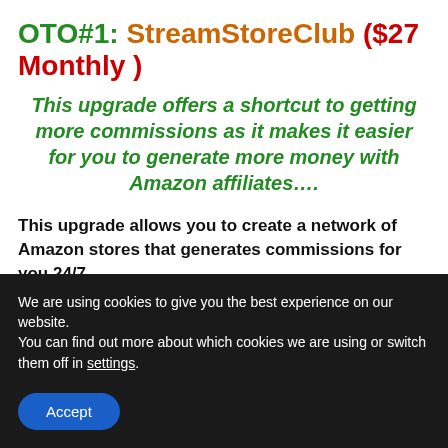OTO#1: StreamStoreClub ($27 Monthly)
This upgrade offers a shortcut to getting more commissions as it makes it easier for you to generate more money with Amazon affiliates….
This upgrade allows you to create a network of Amazon stores that generates commissions for you 24/7…..
Here is what you get;
We are using cookies to give you the best experience on our website.
You can find out more about which cookies we are using or switch them off in settings.
Accept